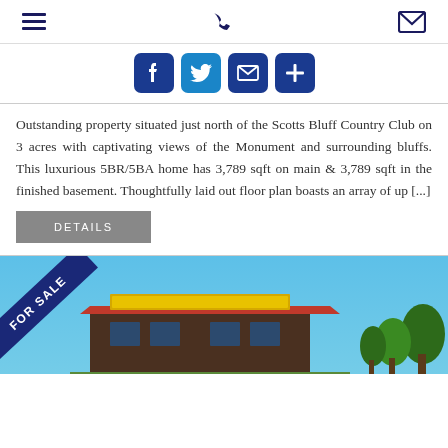Navigation menu | Phone | Email icons
[Figure (infographic): Social sharing buttons row: Facebook, Twitter, Email, Plus]
Outstanding property situated just north of the Scotts Bluff Country Club on 3 acres with captivating views of the Monument and surrounding bluffs. This luxurious 5BR/5BA home has 3,789 sqft on main & 3,789 sqft in the finished basement. Thoughtfully laid out floor plan boasts an array of up [...]
DETAILS
[Figure (photo): Property listing image showing a commercial building with a 'FOR SALE' diagonal banner in the top-left corner, blue sky background, and trees on the right.]